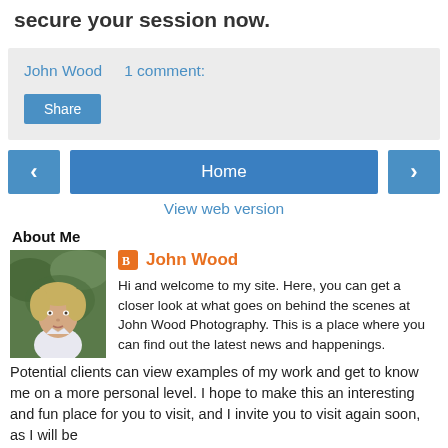secure your session now.
John Wood   1 comment:
About Me
John Wood
Hi and welcome to my site. Here, you can get a closer look at what goes on behind the scenes at John Wood Photography. This is a place where you can find out the latest news and happenings. Potential clients can view examples of my work and get to know me on a more personal level. I hope to make this an interesting and fun place for you to visit, and I invite you to visit again soon, as I will be